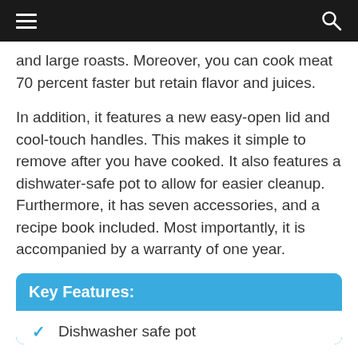and large roasts. Moreover, you can cook meat 70 percent faster but retain flavor and juices.
In addition, it features a new easy-open lid and cool-touch handles. This makes it simple to remove after you have cooked. It also features a dishwater-safe pot to allow for easier cleanup. Furthermore, it has seven accessories, and a recipe book included. Most importantly, it is accompanied by a warranty of one year.
Key Features:
Dishwasher safe pot